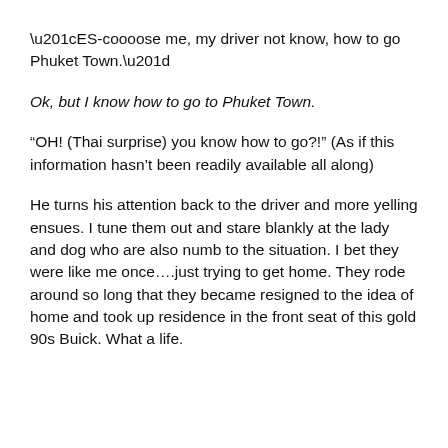“ES-coooose me, my driver not know, how to go Phuket Town.”
Ok, but I know how to go to Phuket Town.
“OH! (Thai surprise) you know how to go?!” (As if this information hasn’t been readily available all along)
He turns his attention back to the driver and more yelling ensues. I tune them out and stare blankly at the lady and dog who are also numb to the situation. I bet they were like me once….just trying to get home. They rode around so long that they became resigned to the idea of home and took up residence in the front seat of this gold 90s Buick. What a life.